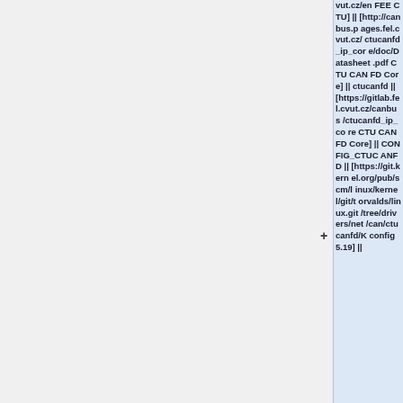| vut.cz/en FEE CTU] || [http://canbus.pages.fel.cvut.cz/ctucanfd_ip_core/doc/Datasheet.pdf CTU CAN FD Core] || ctucanfd || [https://gitlab.fel.cvut.cz/canbus/ctucanfd_ip_core CTU CAN FD Core] || CONFIG_CTUCANFD || [https://git.kernel.org/pub/scm/linux/kernel/git/torvalds/linux.git/tree/drivers/net/can/ctucanfd/Kconfig 5.19] || |